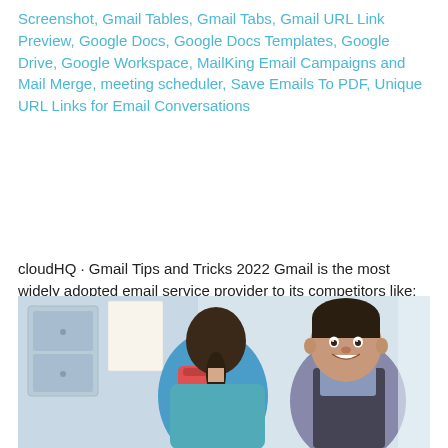Screenshot, Gmail Tables, Gmail Tabs, Gmail URL Link Preview, Google Docs, Google Docs Templates, Google Drive, Google Workspace, MailKing Email Campaigns and Mail Merge, meeting scheduler, Save Emails To PDF, Unique URL Links for Email Conversations
cloudHQ · Gmail Tips and Tricks 2022 Gmail is the most widely adopted email service provider to its competitors like: Outlook, Apple iCloud Mail, and . . .
7/20/2022
MORE »
[Figure (photo): Photo of two children at school — a girl with a dark ponytail and blue backpack facing away, talking to a smiling boy wearing a plaid shirt and dark vest.]